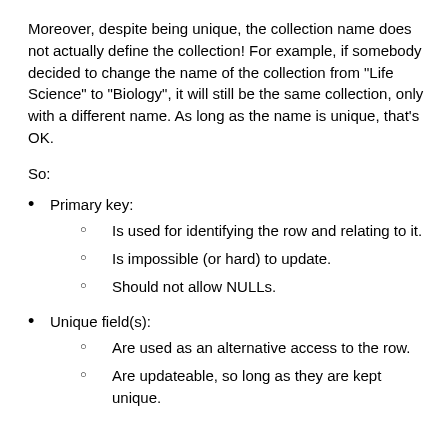Moreover, despite being unique, the collection name does not actually define the collection! For example, if somebody decided to change the name of the collection from "Life Science" to "Biology", it will still be the same collection, only with a different name. As long as the name is unique, that's OK.
So:
Primary key:
Is used for identifying the row and relating to it.
Is impossible (or hard) to update.
Should not allow NULLs.
Unique field(s):
Are used as an alternative access to the row.
Are updateable, so long as they are kept unique.